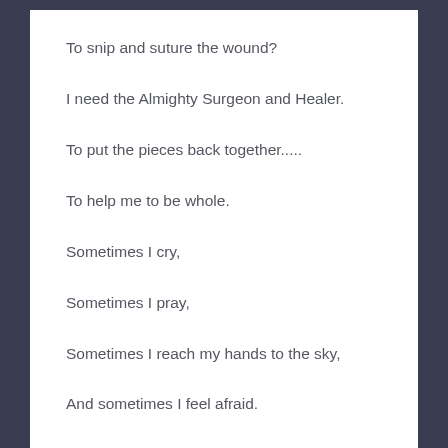To snip and suture the wound?
I need the Almighty Surgeon and Healer.
To put the pieces back together…..
To help me to be whole.
Sometimes I cry,
Sometimes I pray,
Sometimes I reach my hands to the sky,
And sometimes I feel afraid.
To feel, is okay,